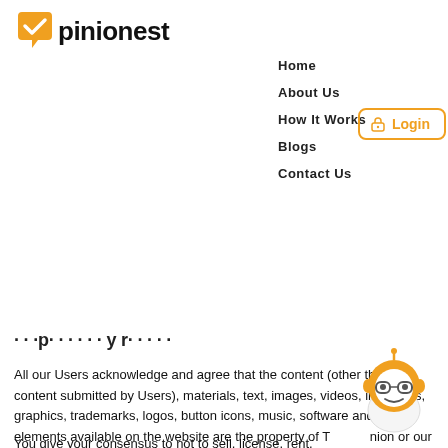[Figure (logo): Opinionest logo: orange speech bubble with checkmark icon followed by text 'pinionest' in bold black]
Home
About Us
How It Works
Blogs
Contact Us
[Figure (other): Login button with lock icon, orange border]
...p...y r...g...
All our Users acknowledge and agree that the content (other than content submitted by Users), materials, text, images, videos, interfaces, graphics, trademarks, logos, button icons, music, software and other elements available on the website are the property of TI or our licensors and are protected by copyright, trademark and/or other proprietary rights and laws.
You give your consensus to not to sell, license, rent,
[Figure (illustration): Cartoon robot mascot with orange head, glasses, and white body]